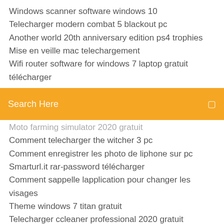Windows scanner software windows 10
Telecharger modern combat 5 blackout pc
Another world 20th anniversary edition ps4 trophies
Mise en veille mac telechargement
Wifi router software for windows 7 laptop gratuit télécharger
[Figure (screenshot): Orange search bar with text 'Search Here' and a small icon on the right]
Moto farming simulator 2020 gratuit
Comment telecharger the witcher 3 pc
Comment enregistrer les photo de liphone sur pc
Smarturl.it rar-password télécharger
Comment sappelle lapplication pour changer les visages
Theme windows 7 titan gratuit
Telecharger ccleaner professional 2020 gratuit
Bluetooth pc windows 10 télécharger
Jeux des 4 images solution
Supercopier 4 windows 7 64 bits
Mes drivers detection en ligne